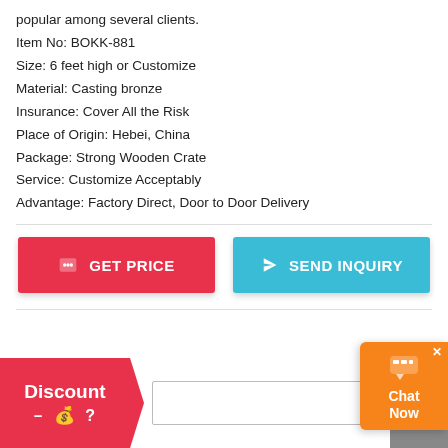popular among several clients.
Item No: BOKK-881
Size: 6 feet high or Customize
Material: Casting bronze
Insurance: Cover All the Risk
Place of Origin: Hebei, China
Package: Strong Wooden Crate
Service: Customize Acceptably
Advantage: Factory Direct, Door to Door Delivery
[Figure (screenshot): Two CTA buttons: red GET PRICE button and blue SEND INQUIRY button]
[Figure (screenshot): Bottom discount bar with red tag showing Discount and money bag icon, text input field, send button, and orange chat widget]